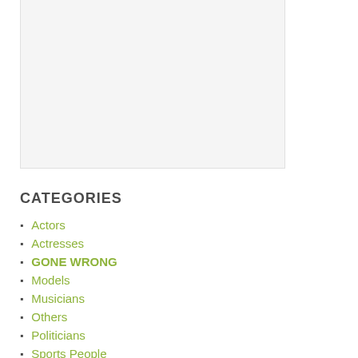[Figure (other): White/light gray rectangular image area at top of page]
CATEGORIES
Actors
Actresses
GONE WRONG
Models
Musicians
Others
Politicians
Sports People